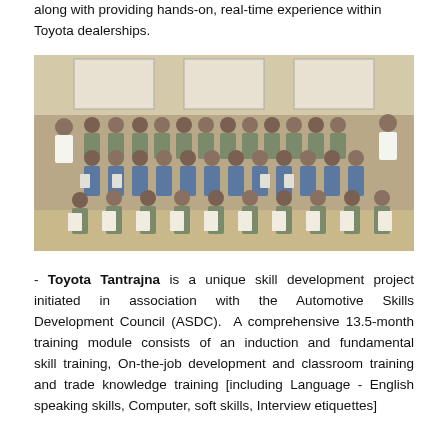along with providing hands-on, real-time experience within Toyota dealerships.
[Figure (photo): Group photo of Toyota Tantrajna trainees and instructors in a classroom/hall setting. Large group of men wearing green uniforms holding certificates, with two men in white shirts on either side.]
- Toyota Tantrajna is a unique skill development project initiated in association with the Automotive Skills Development Council (ASDC). A comprehensive 13.5-month training module consists of an induction and fundamental skill training, On-the-job development and classroom training and trade knowledge training [including Language - English speaking skills, Computer, soft skills, Interview etiquettes]